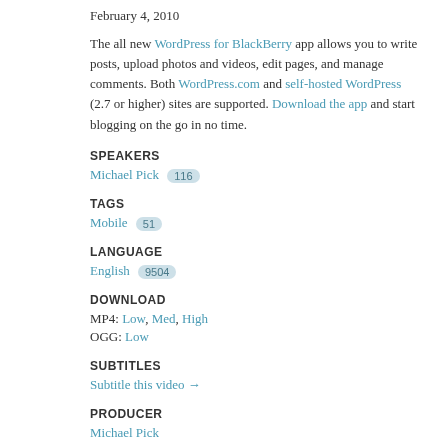February 4, 2010
The all new WordPress for BlackBerry app allows you to write posts, upload photos and videos, edit pages, and manage comments. Both WordPress.com and self-hosted WordPress (2.7 or higher) sites are supported. Download the app and start blogging on the go in no time.
SPEAKERS
Michael Pick  116
TAGS
Mobile  51
LANGUAGE
English  9504
DOWNLOAD
MP4: Low, Med, High
OGG: Low
SUBTITLES
Subtitle this video →
PRODUCER
Michael Pick
[Figure (logo): Creative Commons license icon]